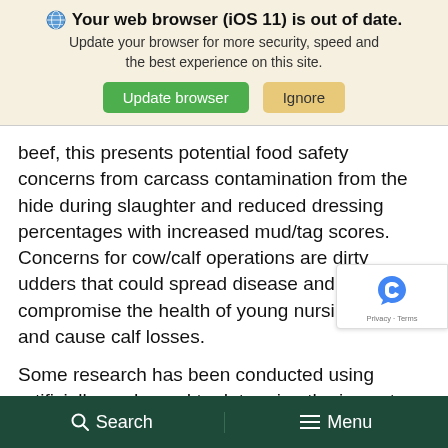[Figure (screenshot): Browser update notification banner with globe icon, bold title 'Your web browser (iOS 11) is out of date.', subtitle text, and two buttons: 'Update browser' (green) and 'Ignore' (tan/yellow)]
beef, this presents potential food safety concerns from carcass contamination from the hide during slaughter and reduced dressing percentages with increased mud/tag scores. Concerns for cow/calf operations are dirty udders that could spread disease and compromise the health of young nursing calves and cause calf losses.
Some research has been conducted using artificially made mud to determine the impact
🔍 Search   ☰ Menu